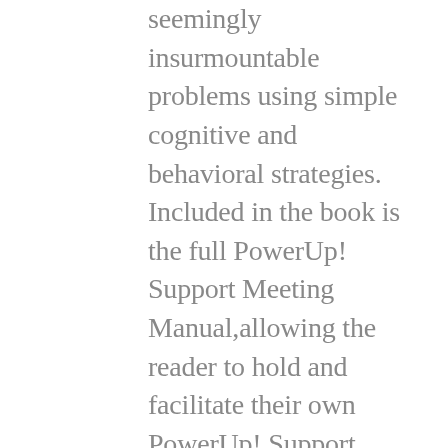seemingly insurmountable problems using simple cognitive and behavioral strategies. Included in the book is the full PowerUp! Support Meeting Manual,allowing the reader to hold and facilitate their own PowerUp! Support Meetings within their community should they wish to share their learnings with others. "Power Up Your Life" is the main manual for all GOGI studies, and contains the foundational information on which all workbooks and courses are based. With this book, the reader has the ability to not only understand each of the GOGI Tools and how to develop a GOGI